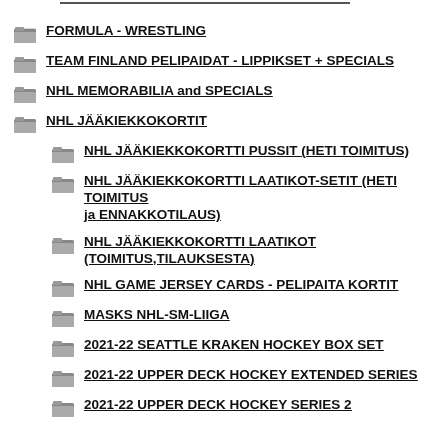FORMULA - WRESTLING
TEAM FINLAND PELIPAIDAT - LIPPIKSET + SPECIALS
NHL MEMORABILIA and SPECIALS
NHL JÄÄKIEKKOKORTIT
NHL JÄÄKIEKKOKORTTI PUSSIT (HETI TOIMITUS)
NHL JÄÄKIEKKOKORTTI LAATIKOT-SETIT (HETI TOIMITUS ja ENNAKKOTILAUS)
NHL JÄÄKIEKKOKORTTI LAATIKOT (TOIMITUS,TILAUKSESTA)
NHL GAME JERSEY CARDS - PELIPAITA KORTIT
MASKS NHL-SM-LIIGA
2021-22 SEATTLE KRAKEN HOCKEY BOX SET
2021-22 UPPER DECK HOCKEY EXTENDED SERIES
2021-22 UPPER DECK HOCKEY SERIES 2